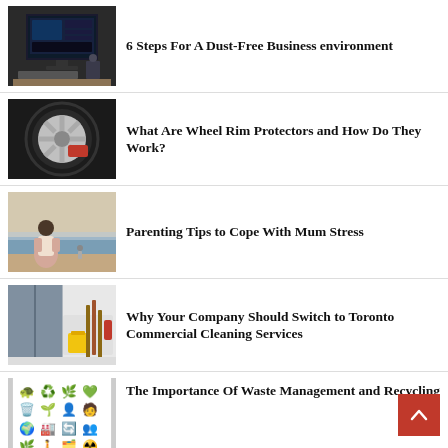[Figure (photo): A desktop computer setup showing a monitor with a dark interface, keyboard and items on a desk.]
6 Steps For A Dust-Free Business environment
[Figure (photo): Close-up of a car wheel rim with red brake caliper visible.]
What Are Wheel Rim Protectors and How Do They Work?
[Figure (photo): A woman and child at a beach, viewed from behind.]
Parenting Tips to Cope With Mum Stress
[Figure (photo): Commercial cleaning supplies and equipment including mops and yellow bucket near lockers.]
Why Your Company Should Switch to Toronto Commercial Cleaning Services
[Figure (illustration): Grid of recycling and waste management emoji icons including globe, recycle symbols, trash bins, people, and hazard symbols.]
The Importance Of Waste Management and Recycling